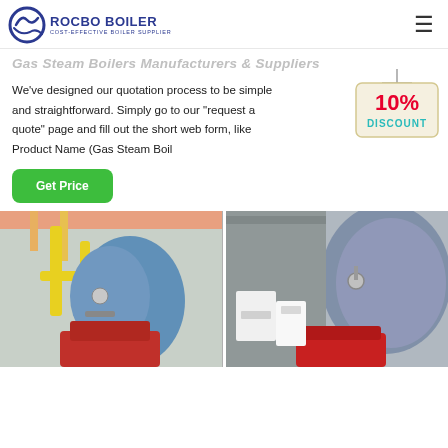[Figure (logo): Rocbo Boiler logo with blue circular swoosh icon and text ROCBO BOILER - Cost-Effective Boiler Supplier]
Gas Steam Boilers Manufacturers & Suppliers
We've designed our quotation process to be simple and straightforward. Simply go to our "request a quote" page and fill out the short web form, like Product Name (Gas Steam Boil
[Figure (illustration): 10% DISCOUNT badge/tag illustration in red and teal colors]
[Figure (photo): Get Price green button]
[Figure (photo): Industrial gas steam boiler with yellow pipes in a factory setting]
[Figure (photo): Industrial gas steam boiler installation in factory with large blue cylindrical tank]